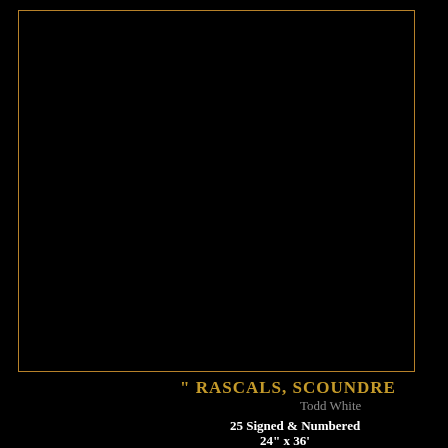[Figure (photo): Large black artwork image in a gold/amber border frame against black background]
" RASCALS, SCOUNDRE
Todd White
25 Signed & Numbered
24" x 36'